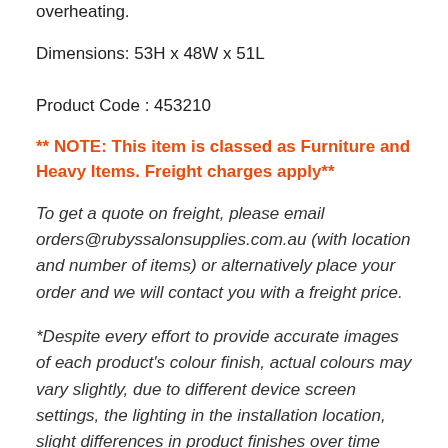overheating.
Dimensions: 53H x 48W x 51L
Product Code : 453210
** NOTE: This item is classed as Furniture and Heavy Items. Freight charges apply**
To get a quote on freight, please email orders@rubyssalonsupplies.com.au (with location and number of items) or alternatively place your order and we will contact you with a freight price.
*Despite every effort to provide accurate images of each product's colour finish, actual colours may vary slightly, due to different device screen settings, the lighting in the installation location, slight differences in product finishes over time and other factors. Ruby's Salon Supplies